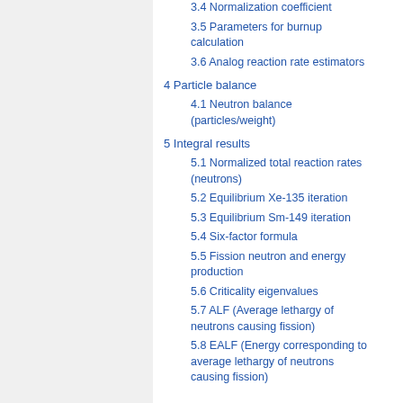3.4 Normalization coefficient
3.5 Parameters for burnup calculation
3.6 Analog reaction rate estimators
4 Particle balance
4.1 Neutron balance (particles/weight)
5 Integral results
5.1 Normalized total reaction rates (neutrons)
5.2 Equilibrium Xe-135 iteration
5.3 Equilibrium Sm-149 iteration
5.4 Six-factor formula
5.5 Fission neutron and energy production
5.6 Criticality eigenvalues
5.7 ALF (Average lethargy of neutrons causing fission)
5.8 EALF (Energy corresponding to average lethargy of neutrons causing fission)